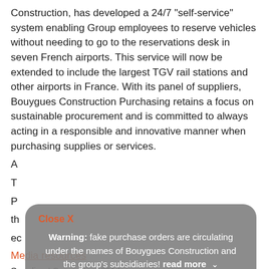Construction, has developed a 24/7 "self-service" system enabling Group employees to reserve vehicles without needing to go to the reservations desk in seven French airports. This service will now be extended to include the largest TGV rail stations and other airports in France. With its panel of suppliers, Bouygues Construction Purchasing retains a focus on sustainable procurement and is committed to always acting in a responsible and innovative manner when purchasing supplies or services.
A...
Media resources
Suppliers' Convention 2014
11/28/2014
[Figure (other): Warning popup overlay with text: Close X (orange), Warning: fake purchase orders are circulating under the names of Bouygues Construction and the group's subsidiaries! read more with dropdown arrow]